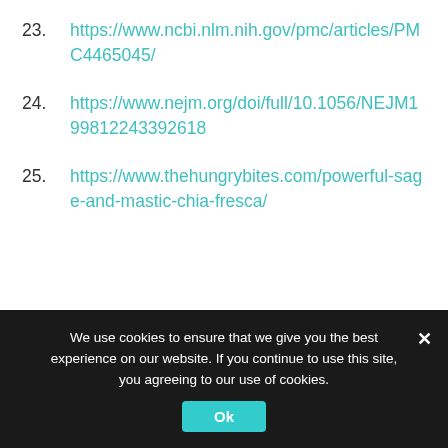23. https://www.ncbi.nlm.nih.gov/pmc/articles/PMC4465045/
24. https://www.nejm.org/doi/full/10.1056/NEJM199812243392618
25. https://www.thehungrybites.com/powerful-sage-and-mastic-chia-fresca/
We use cookies to ensure that we give you the best experience on our website. If you continue to use this site, you agreeing to our use of cookies. Ok